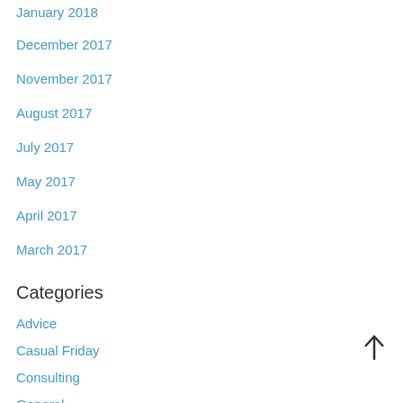January 2018
December 2017
November 2017
August 2017
July 2017
May 2017
April 2017
March 2017
Categories
Advice
Casual Friday
Consulting
General
sale